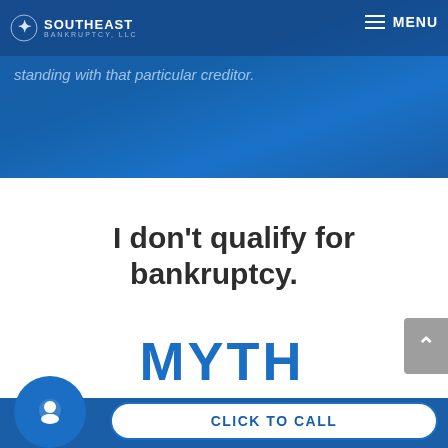SOUTHEAST BANKRUPTCY, LLC
standing with that particular creditor.
I don't qualify for bankruptcy.
MYTH
CLICK TO CALL